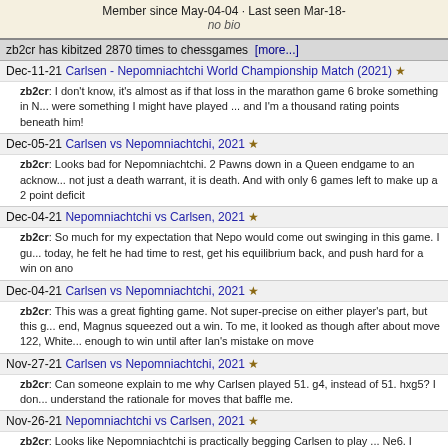Member since May-04-04 · Last seen Mar-18-
no bio
zb2cr has kibitzed 2870 times to chessgames [more...]
Dec-11-21 Carlsen - Nepomniachtchi World Championship Match (2021) ★
zb2cr: I don't know, it's almost as if that loss in the marathon game 6 broke something in N... were something I might have played ... and I'm a thousand rating points beneath him!
Dec-05-21 Carlsen vs Nepomniachtchi, 2021 ★
zb2cr: Looks bad for Nepomniachtchi. 2 Pawns down in a Queen endgame to an acknow... not just a death warrant, it is death. And with only 6 games left to make up a 2 point deficit
Dec-04-21 Nepomniachtchi vs Carlsen, 2021 ★
zb2cr: So much for my expectation that Nepo would come out swinging in this game. I gu... today, he felt he had time to rest, get his equilibrium back, and push hard for a win on ano
Dec-04-21 Carlsen vs Nepomniachtchi, 2021 ★
zb2cr: This was a great fighting game. Not super-precise on either player's part, but this g... end, Magnus squeezed out a win. To me, it looked as though after about move 122, White... enough to win until after Ian's mistake on move
Nov-27-21 Carlsen vs Nepomniachtchi, 2021 ★
zb2cr: Can someone explain to me why Carlsen played 51. g4, instead of 51. hxg5? I don... understand the rationale for moves that baffle me.
Nov-26-21 Nepomniachtchi vs Carlsen, 2021 ★
zb2cr: Looks like Nepomniachtchi is practically begging Carlsen to play ... Ne6. I wonder
Sep-13-21 A Sandrin vs W Shipman, 1946 ★
zb2cr: 48. .... Qf2+ does it. White moving the King to h1 is clearly fatuous. Therefore, 49.
Aug-30-21 A Stefanova vs M Sebag, 2010 ★
zb2cr: Straightforward. 29. Qxg6+ can be met in 3 ways: A. 29. ... Kh8; 30. Rxh7+, Qxh7 a... either Queen or Rook. B. 29. ... Qg7; 30. Qxg7+, Kxg7; 31. Rxh7+, Kf8; 32. Rh8+, Ke7; 33
Aug-23-21 N Davies vs G Crawley, 1984 ★
zb2cr: 29. ... Re1+ starts things up. There are two lines: The simplest to see is 30. Kxe1, Q... Seeing how Black mates in this line is a little harder, but Black can use 30 Kf2, Qe2+; 3